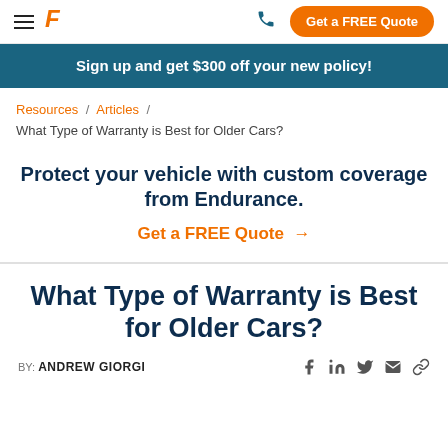≡ [Endurance logo] [phone] Get a FREE Quote
Sign up and get $300 off your new policy!
Resources / Articles / What Type of Warranty is Best for Older Cars?
Protect your vehicle with custom coverage from Endurance.
Get a FREE Quote →
What Type of Warranty is Best for Older Cars?
BY: ANDREW GIORGI